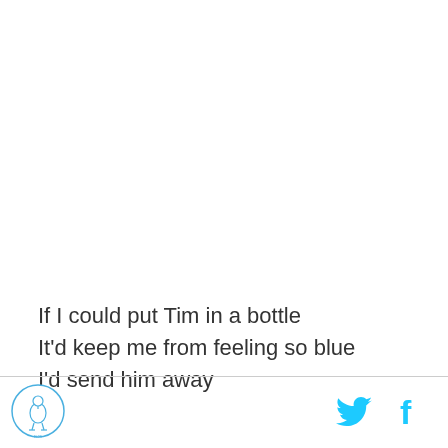If I could put Tim in a bottle
It'd keep me from feeling so blue
I'd send him away
[Figure (logo): Circular logo with an animal figure (bird/flamingo) in blue outline on white background with text around the border]
[Figure (logo): Twitter bird icon in cyan/blue]
[Figure (logo): Facebook 'f' icon in cyan/blue]